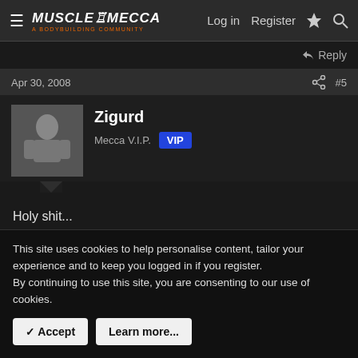MuscleMecca — Log in | Register
Reply
Apr 30, 2008   #5
Zigurd
Mecca V.I.P.  VIP
Holy shit...

=(
Reply
Apr 30, 2008   #6
This site uses cookies to help personalise content, tailor your experience and to keep you logged in if you register.
By continuing to use this site, you are consenting to our use of cookies.
Accept   Learn more...